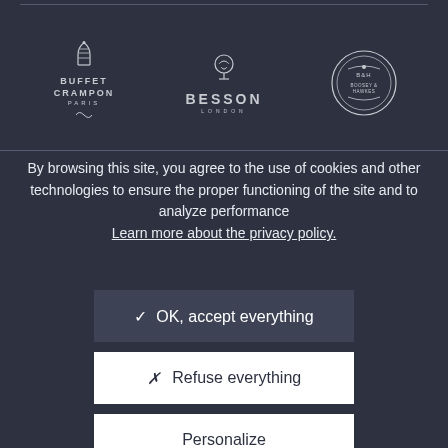[Figure (logo): Buffet Crampon Paris logo with harp icon and ornamental flourish]
[Figure (logo): Besson London logo with decorative icon]
[Figure (logo): Third brand circular badge/seal logo]
By browsing this site, you agree to the use of cookies and other technologies to ensure the proper functioning of the site and to analyze performance
Learn more about the privacy policy.
✓ OK, accept everything
✗ Refuse everything
Personalize